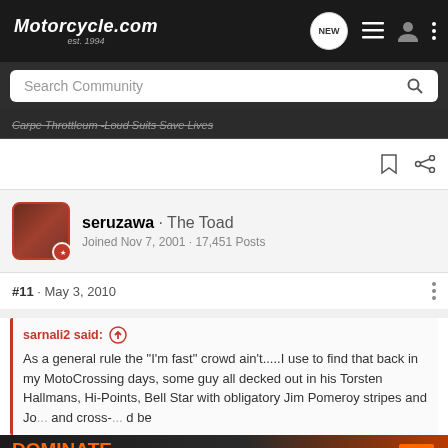Motorcycle.com est. 1994
Search Community
Carpe Throttleum -Loud Suits Save Lives
seruzawa · The Toad
Joined Nov 7, 2001 · 17,451 Posts
#11 · May 3, 2010
sarnali2 said: ↑
As a general rule the "I'm fast" crowd ain't.....I use to find that back in my MotoCrossing days, some guy all decked out in his Torsten Hallmans, Hi-Points, Bell Star with obligatory Jim Pomeroy stripes and Jo... and cross-... d be
[Figure (screenshot): KTM Dominate The Street advertisement banner. Text reads: DOMINATE THE STREET. NO PAYMENTS, NO INTEREST FOR 60 DAYS ON SELECT STREET MODELS*. Shows a motorcycle with KTM logo.]